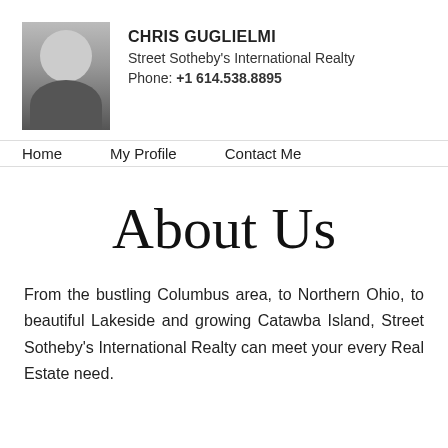[Figure (photo): Grayscale headshot photo of Chris Guglielmi, a man in a suit with a tie]
CHRIS GUGLIELMI
Street Sotheby's International Realty
Phone: +1 614.538.8895
Home   My Profile   Contact Me
About Us
From the bustling Columbus area, to Northern Ohio, to beautiful Lakeside and growing Catawba Island, Street Sotheby's International Realty can meet your every Real Estate need.